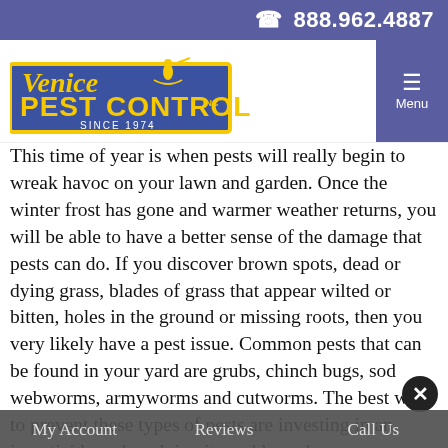☎ 888.962.4887
[Figure (logo): Venice Pest Control Inc. logo — blue and yellow with gondolier silhouette, 'Since 1974']
This time of year is when pests will really begin to wreak havoc on your lawn and garden. Once the winter frost has gone and warmer weather returns, you will be able to have a better sense of the damage that pests can do. If you discover brown spots, dead or dying grass, blades of grass that appear wilted or bitten, holes in the ground or missing roots, then you very likely have a pest issue. Common pests that can be found in your yard are grubs, chinch bugs, sod webworms, armyworms and cutworms. The best way to prevent these types of pests are investing in an insecticide and applying it weekly, or have a professional pest control company apply it for you. You will also want to continue the upkeep of your yard- keeping the grass, trees and bushes trimmed, as well
My Account    Reviews    Call Us